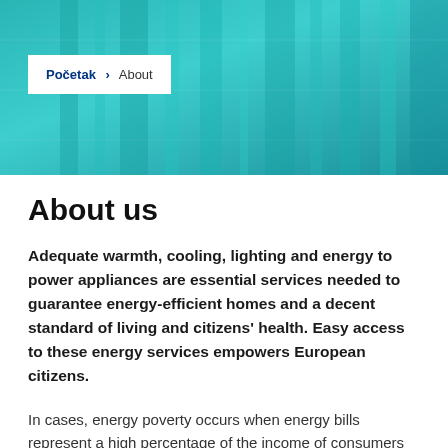[Figure (photo): Teal/cyan tinted photo of building facade or structural elements, used as hero banner background]
Početak > About
About us
Adequate warmth, cooling, lighting and energy to power appliances are essential services needed to guarantee energy-efficient homes and a decent standard of living and citizens' health. Easy access to these energy services empowers European citizens.
In cases, energy poverty occurs when energy bills represent a high percentage of the income of consumers